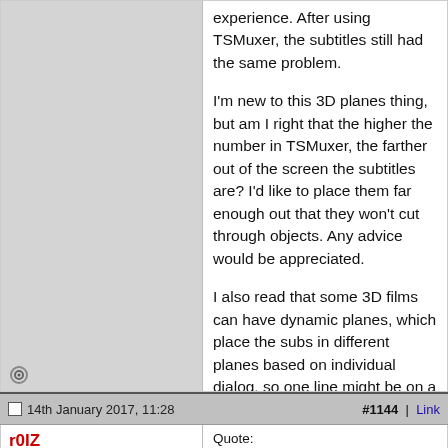experience. After using TSMuxer, the subtitles still had the same problem.

I'm new to this 3D planes thing, but am I right that the higher the number in TSMuxer, the farther out of the screen the subtitles are? I'd like to place them far enough out that they won't cut through objects. Any advice would be appreciated.

I also read that some 3D films can have dynamic planes, which place the subs in different planes based on individual dialog, so one line might be on a different plane than another line, depending on the action on-screen. Can anybody suggest a better software solution than TSMuxer for this, or is TSMuxer recommended?
14th January 2017, 11:28   #1144 | Link
r0IZ
PgcEdit daemon
Quote:
Originally Posted by macrea
From my understanding, TSMuxer won't show you